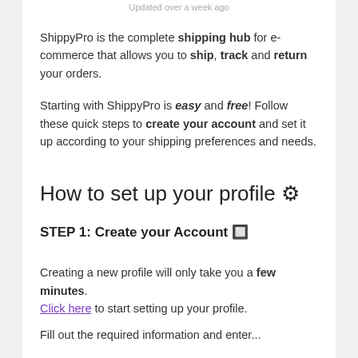Updated over a week ago
ShippyPro is the complete shipping hub for e-commerce that allows you to ship, track and return your orders.
Starting with ShippyPro is easy and free! Follow these quick steps to create your account and set it up according to your shipping preferences and needs.
How to set up your profile ⚙
STEP 1: Create your Account 🔲
Creating a new profile will only take you a few minutes. Click here to start setting up your profile.
Fill out the required information and enter...